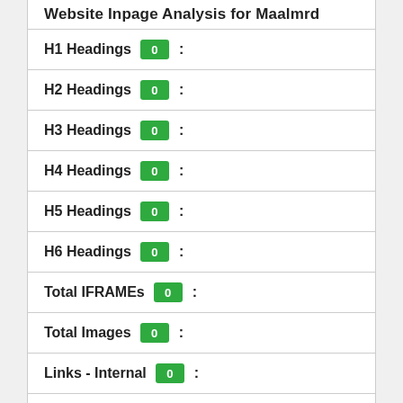Website Inpage Analysis for Maalmrd
H1 Headings 0 :
H2 Headings 0 :
H3 Headings 0 :
H4 Headings 0 :
H5 Headings 0 :
H6 Headings 0 :
Total IFRAMEs 0 :
Total Images 0 :
Links - Internal 0 :
Links - Internal (nofollow) 0 :
Links - Outbound 0 :